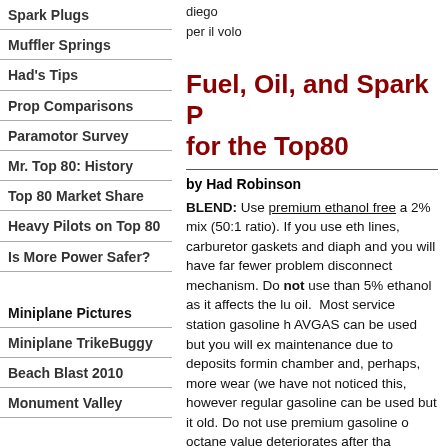Spark Plugs
Muffler Springs
Had's Tips
Prop Comparisons
Paramotor Survey
Mr. Top 80: History
Top 80 Market Share
Heavy Pilots on Top 80
Is More Power Safer?
Miniplane Pictures
Miniplane TrikeBuggy
Beach Blast 2010
Monument Valley
diego
per il volo
Fuel, Oil, and Spark P… for the Top80
by Had Robinson
BLEND: Use premium ethanol free a 2% mix (50:1 ratio). If you use eth lines, carburetor gaskets and diaph and you will have far fewer problem disconnect mechanism. Do not use than 5% ethanol as it affects the lu oil. Most service station gasoline h AVGAS can be used but you will ex maintenance due to deposits formin chamber and, perhaps, more wear (we have not noticed this, however regular gasoline can be used but it old. Do not use premium gasoline o octane value deteriorates after tha